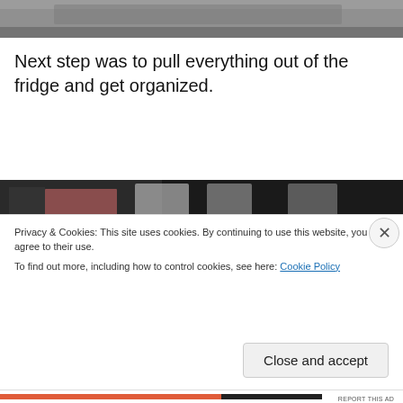[Figure (photo): Top portion of a photo, appears to show a gray/textured surface, partially cut off at the top of the page.]
Next step was to pull everything out of the fridge and get organized.
[Figure (photo): Bottom portion of a photo showing items on a counter, including glasses and containers, partially obscured by cookie banner.]
Privacy & Cookies: This site uses cookies. By continuing to use this website, you agree to their use.
To find out more, including how to control cookies, see here: Cookie Policy
Close and accept